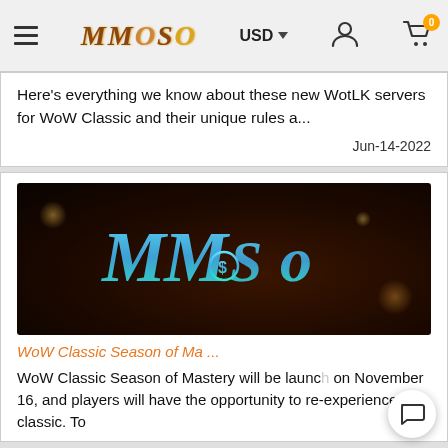MMOSO   USD   [user icon]   [cart 0]
Here's everything we know about these new WotLK servers for WoW Classic and their unique rules a…
Jun-14-2022
[Figure (logo): MMOSO logo on dark bokeh background with blue/teal stylized letters MM.So]
WoW Classic Season of Ma ...
WoW Classic Season of Mastery will be launched on November 16, and players will have the opportunity to re-experience the classic. To